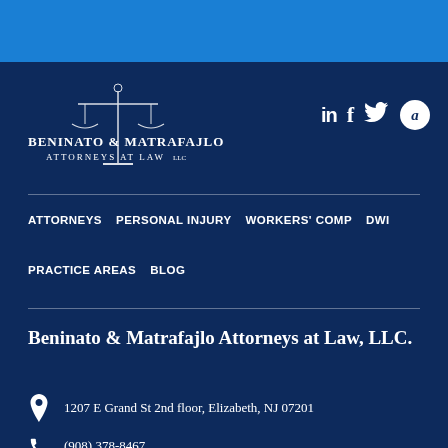[Figure (logo): Beninato & Matrafajlo Attorneys at Law LLC logo with scales of justice]
[Figure (infographic): Social media icons: LinkedIn, Facebook, Twitter, Avvo]
ATTORNEYS   PERSONAL INJURY   WORKERS' COMP   DWI
PRACTICE AREAS   BLOG
Beninato & Matrafajlo Attorneys at Law, LLC.
1207 E Grand St 2nd floor, Elizabeth, NJ 07201
(908) 378-8467